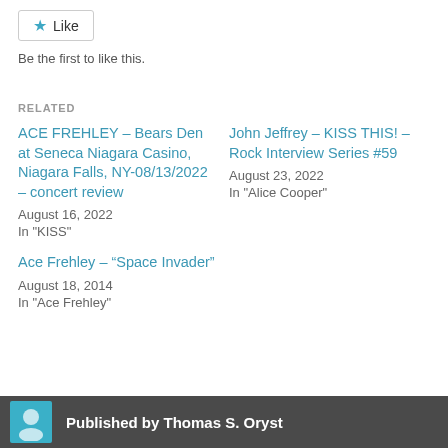Like
Be the first to like this.
RELATED
ACE FREHLEY – Bears Den at Seneca Niagara Casino, Niagara Falls, NY-08/13/2022 – concert review
August 16, 2022
In "KISS"
John Jeffrey – KISS THIS! – Rock Interview Series #59
August 23, 2022
In "Alice Cooper"
Ace Frehley – “Space Invader"
August 18, 2014
In "Ace Frehley"
Published by Thomas S. Oryst